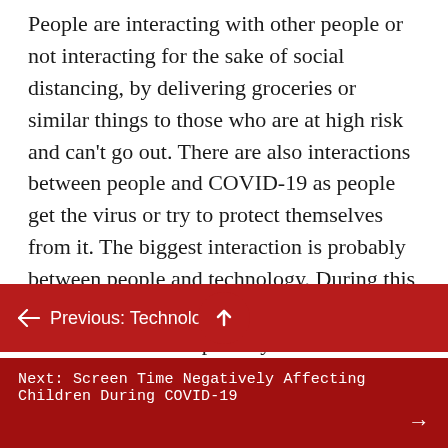People are interacting with other people or not interacting for the sake of social distancing, by delivering groceries or similar things to those who are at high risk and can't go out. There are also interactions between people and COVID-19 as people get the virus or try to protect themselves from it. The biggest interaction is probably between people and technology. During this time there is a greater need for technology than ever. This is especially the case in the medical field, where staying out of direct contact with the virus can be difficult because of the close proximity between health
← Previous: Technology
Next: Screen Time Negatively Affecting Children During COVID-19 →